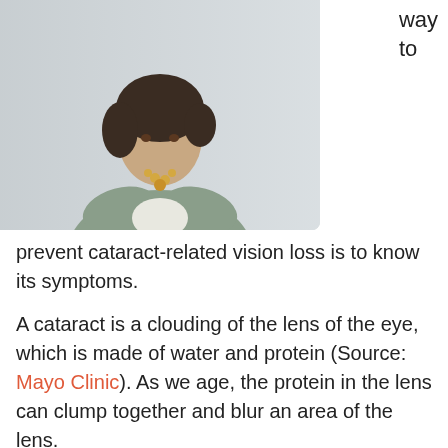[Figure (photo): A middle-aged woman with arms crossed, wearing a grey cardigan and necklace, posed against a light wall. Only upper portion of image visible (cropped).]
way to
prevent cataract-related vision loss is to know its symptoms.
A cataract is a clouding of the lens of the eye, which is made of water and protein (Source: Mayo Clinic). As we age, the protein in the lens can clump together and blur an area of the lens.
The most common symptoms of this eye disease are:
Dim, blurry or clouded vision